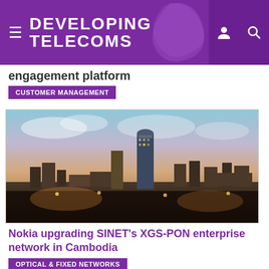DEVELOPING TELECOMS
engagement platform
CUSTOMER MANAGEMENT
[Figure (photo): Aerial cityscape photo of Phnom Penh, Cambodia at dusk with modern skyscrapers and dense urban buildings lit up at night]
Nokia upgrading SINET's XGS-PON enterprise network in Cambodia
OPTICAL & FIXED NETWORKS